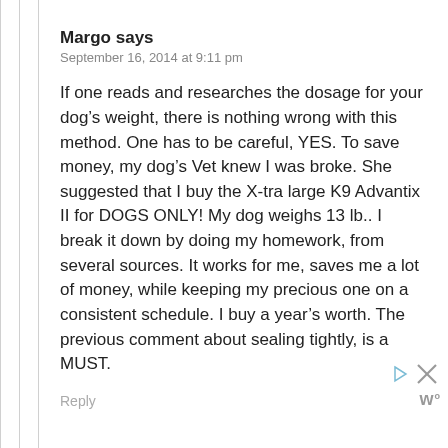Margo says
September 16, 2014 at 9:11 pm
If one reads and researches the dosage for your dog’s weight, there is nothing wrong with this method. One has to be careful, YES. To save money, my dog’s Vet knew I was broke. She suggested that I buy the X-tra large K9 Advantix II for DOGS ONLY! My dog weighs 13 lb.. I break it down by doing my homework, from several sources. It works for me, saves me a lot of money, while keeping my precious one on a consistent schedule. I buy a year’s worth. The previous comment about sealing tightly, is a MUST.
Reply